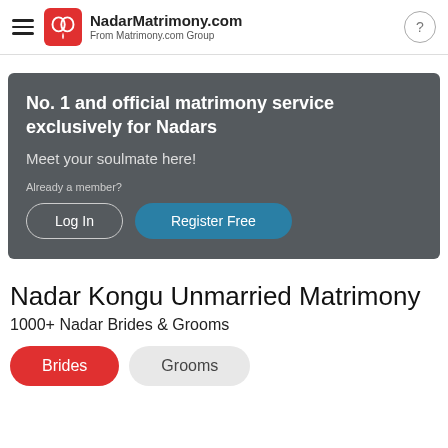NadarMatrimony.com
From Matrimony.com Group
[Figure (screenshot): Dark grey banner with headline 'No. 1 and official matrimony service exclusively for Nadars', subtext 'Meet your soulmate here!', member text 'Already a member?', Log In and Register Free buttons]
Nadar Kongu Unmarried Matrimony
1000+ Nadar Brides & Grooms
Brides   Grooms